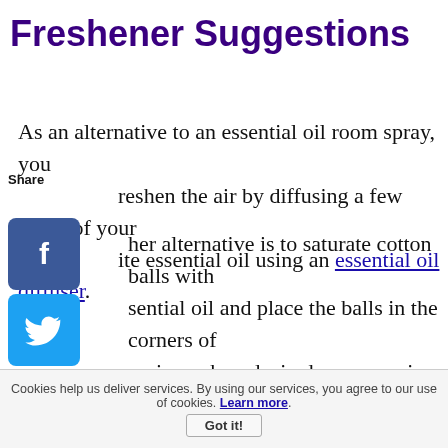Freshener Suggestions
As an alternative to an essential oil room spray, you can freshen the air by diffusing a few drops of your favorite essential oil using an essential oil diffuser. Another alternative is to saturate cotton balls with essential oil and place the balls in the corners of a room, in cupboards, in drawers, or in out-of-the-way places. Or add a fresh scent to your home by using essential oils for cleaning.
Cookies help us deliver services. By using our services, you agree to our use of cookies. Learn more.
Got it!